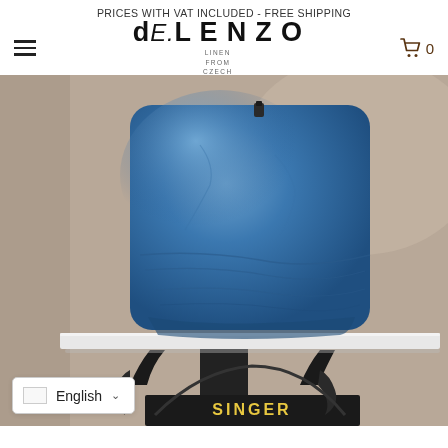PRICES WITH VAT INCLUDED - FREE SHIPPING
dE.LENZO LINEN FROM CZECH
[Figure (photo): A blue linen pillow/cushion sitting on a white marble shelf supported by a vintage black Singer sewing machine base. The background is a warm taupe/beige wall. A language selector showing 'English' with a dropdown arrow is overlaid at the bottom left of the image.]